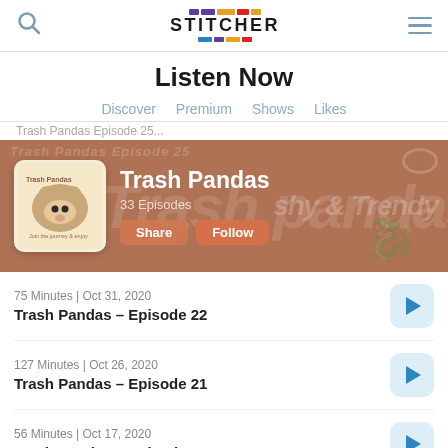Stitcher – Listen Now
Listen Now
Discover  Premium  Shows  Likes
[Figure (screenshot): Trash Pandas podcast banner on Stitcher app showing podcast art, title 'Trash Pandas', '33 Episodes', Share and Follow buttons on a brown background]
75 Minutes | Oct 31, 2020
Trash Pandas – Episode 22
127 Minutes | Oct 26, 2020
Trash Pandas – Episode 21
56 Minutes | Oct 17, 2020
Trash Pandas – Episode 20 We were on a BREAK!